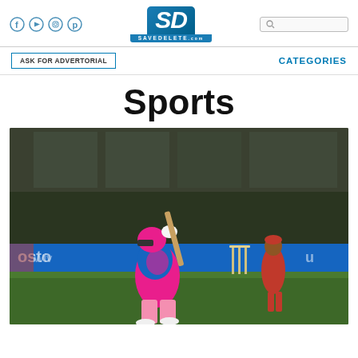SaveDelete.com website header with social icons, SD logo, and search box
ASK FOR ADVERTORIAL   CATEGORIES
Sports
[Figure (photo): Cricket player in pink and blue Rajasthan Royals IPL uniform swinging bat at stumps, with another player in red Punjab Kings uniform in background, at an indoor cricket stadium with blue advertising boards.]